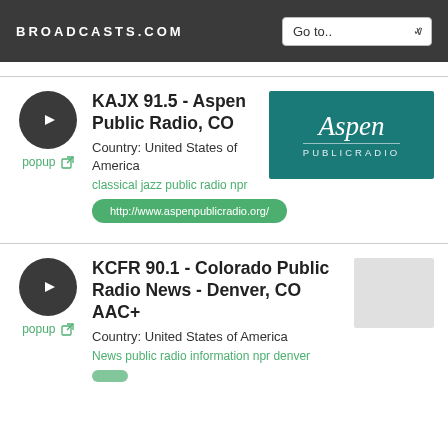BROADCASTS.COM
KAJX 91.5 - Aspen Public Radio, CO
Country: United States of America
classical jazz public radio npr
http://www.aspenpublicradio.org/
KCFR 90.1 - Colorado Public Radio News - Denver, CO AAC+
Country: United States of America
News public radio information npr denver